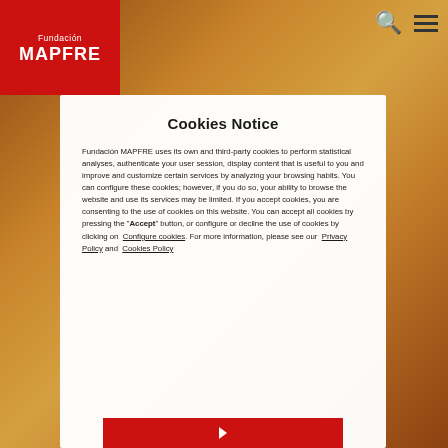[Figure (logo): Fundación MAPFRE logo on red background, top left]
[Figure (photo): Food/pastry background image in warm brown and golden tones]
Cookies Notice
Fundación MAPFRE uses its own and third-party cookies to perform statistical analyses, authenticate your user session, display content that is useful to you and improve and customize certain services by analyzing your browsing habits. You can configure these cookies; however, if you do so, your ability to browse the website and use its services may be limited. If you accept cookies, you are consenting to the use of cookies on this website. You can accept all cookies by pressing the "Accept" button, or configure or decline the use of cookies by clicking on Configure cookies. For more information, please see our Privacy Policy and Cookies Policy